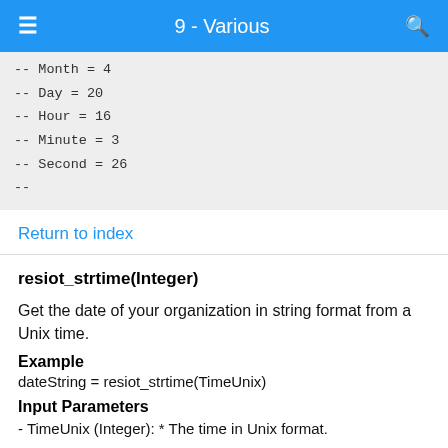9 - Various
-- Month = 4
-- Day = 20
-- Hour = 16
-- Minute = 3
-- Second = 26
--
Return to index
resiot_strtime(Integer)
Get the date of your organization in string format from a Unix time.
Example
dateString = resiot_strtime(TimeUnix)
Input Parameters
- TimeUnix (Integer): * The time in Unix format.